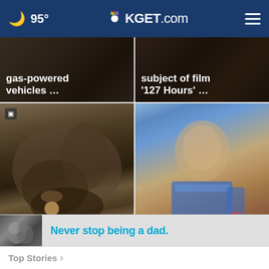🌙 95° KGET.com
[Figure (screenshot): News card: gas-powered vehicles ... (dark background with partial image)]
[Figure (screenshot): News card: subject of film '127 Hours' ... (dark background with partial image)]
[Figure (photo): Puppy rescued after being thrown away in a dumpster ... (photo of a cat/puppy in dark setting)]
[Figure (photo): Bills punter Matt Araiza named in San Diego Sta × ... (photo of football player in blue jersey)]
[Figure (photo): Advertisement banner: black and white photo of people, text: Never stop being a dad.]
Top Stories >